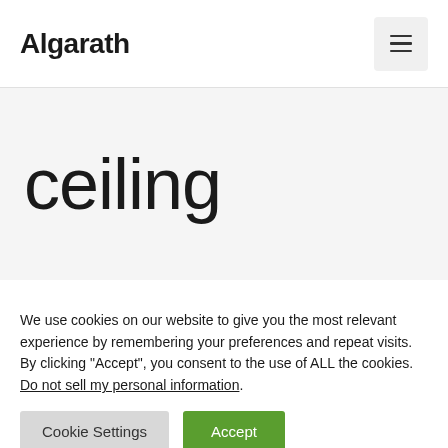Algarath
ceiling
We use cookies on our website to give you the most relevant experience by remembering your preferences and repeat visits. By clicking “Accept”, you consent to the use of ALL the cookies. Do not sell my personal information.